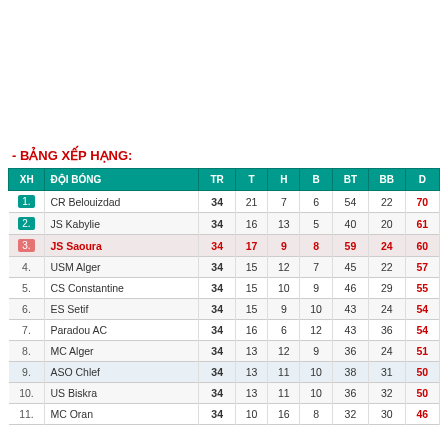- BẢNG XẾP HẠNG:
| XH | ĐỘI BÓNG | TR | T | H | B | BT | BB | D |
| --- | --- | --- | --- | --- | --- | --- | --- | --- |
| 1. | CR Belouizdad | 34 | 21 | 7 | 6 | 54 | 22 | 70 |
| 2. | JS Kabylie | 34 | 16 | 13 | 5 | 40 | 20 | 61 |
| 3. | JS Saoura | 34 | 17 | 9 | 8 | 59 | 24 | 60 |
| 4. | USM Alger | 34 | 15 | 12 | 7 | 45 | 22 | 57 |
| 5. | CS Constantine | 34 | 15 | 10 | 9 | 46 | 29 | 55 |
| 6. | ES Setif | 34 | 15 | 9 | 10 | 43 | 24 | 54 |
| 7. | Paradou AC | 34 | 16 | 6 | 12 | 43 | 36 | 54 |
| 8. | MC Alger | 34 | 13 | 12 | 9 | 36 | 24 | 51 |
| 9. | ASO Chlef | 34 | 13 | 11 | 10 | 38 | 31 | 50 |
| 10. | US Biskra | 34 | 13 | 11 | 10 | 36 | 32 | 50 |
| 11. | MC Oran | 34 | 10 | 16 | 8 | 32 | 30 | 46 |